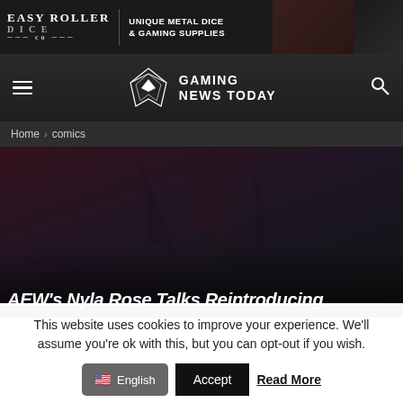[Figure (screenshot): Easy Roller Dice Co advertisement banner — black background with logo on left, 'UNIQUE METAL DICE & GAMING SUPPLIES' text in center, gaming dice and skull images on right]
[Figure (logo): Gaming News Today navigation bar with hamburger menu on left, ROG-style wing logo and 'GAMING NEWS TODAY' text in center, search icon on right]
Home › comics
[Figure (photo): Dark fantasy hero image — dark reddish/purple tones with stylized character silhouettes, partial article title visible at bottom reading: AEW's Nyla Rose Talks Reintroducing]
This website uses cookies to improve your experience. We'll assume you're ok with this, but you can opt-out if you wish.
English   Accept   Read More